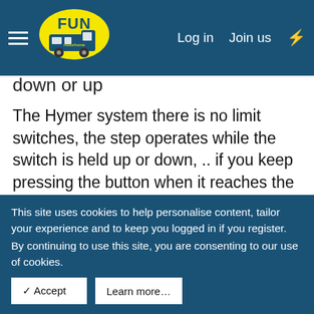MotorHomeFun — Log in  Join us
down or up
The Hymer system there is no limit switches, the step operates while the switch is held up or down, .. if you keep pressing the button when it reaches the extent of travel, the current go's up to 14 A ..
Subscribers do not see these advertisements
Last edited: Apr 22, 2015
Reply
This site uses cookies to help personalise content, tailor your experience and to keep you logged in if you register.
By continuing to use this site, you are consenting to our use of cookies.